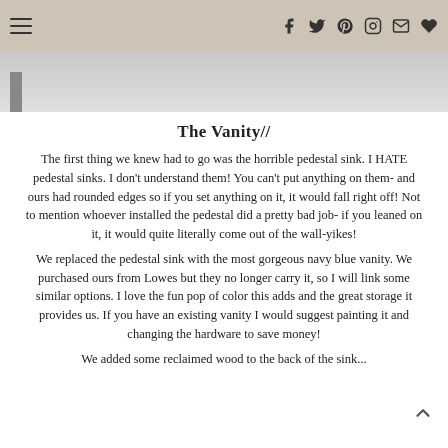Navigation and social icons header
[Figure (photo): Partial image strip showing a bathroom or vanity photo, partially visible]
The Vanity//
The first thing we knew had to go was the horrible pedestal sink. I HATE pedestal sinks. I don't understand them! You can't put anything on them- and ours had rounded edges so if you set anything on it, it would fall right off! Not to mention whoever installed the pedestal did a pretty bad job- if you leaned on it, it would quite literally come out of the wall-yikes!
We replaced the pedestal sink with the most gorgeous navy blue vanity. We purchased ours from Lowes but they no longer carry it, so I will link some similar options. I love the fun pop of color this adds and the great storage it provides us. If you have an existing vanity I would suggest painting it and changing the hardware to save money!
We added some reclaimed wood to the back of the sink...